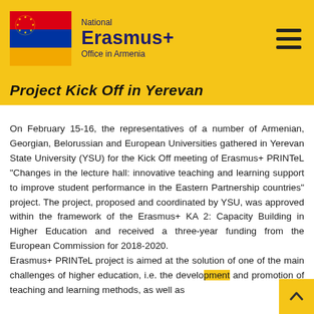[Figure (logo): National Erasmus+ Office in Armenia logo with Armenian flag and EU stars]
Project Kick Off in Yerevan
On February 15-16, the representatives of a number of Armenian, Georgian, Belorussian and European Universities gathered in Yerevan State University (YSU) for the Kick Off meeting of Erasmus+ PRINTeL “Changes in the lecture hall: innovative teaching and learning support to improve student performance in the Eastern Partnership countries” project. The project, proposed and coordinated by YSU, was approved within the framework of the Erasmus+ KA 2: Capacity Building in Higher Education  and received a three-year funding from the European Commission for 2018-2020.
Erasmus+ PRINTeL project is aimed at the solution of one of the main challenges of higher education, i.e. the development and promotion of teaching and learning methods, as well as